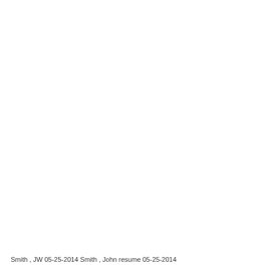Smith , JW 05-25-2014 Smith , John  resume 05-25-2014